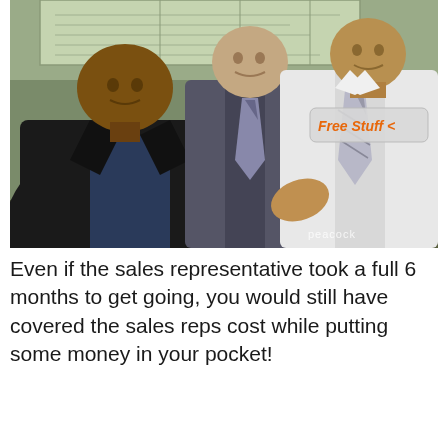[Figure (screenshot): Screenshot from a TV show (The Office on Peacock) showing three men in an office setting. A large man in a black leather jacket stands on the left, a heavier man in a grey suit stands in the middle, and a man in a white dress shirt and tie stands on the right. A grey bubble in the upper right reads 'Free Stuff <' in orange italic text. A 'peacock' watermark appears in the lower right.]
Even if the sales representative took a full 6 months to get going, you would still have covered the sales reps cost while putting some money in your pocket!